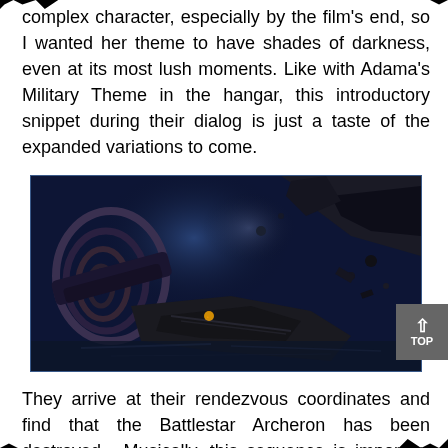complex character, especially by the film's end, so I wanted her theme to have shades of darkness, even at its most lush moments. Like with Adama's Military Theme in the hangar, this introductory snippet during their dialog is just a taste of the expanded variations to come.
[Figure (photo): A dark science-fiction scene showing what appears to be a destroyed or damaged space station or battlestar, with wreckage and debris visible against a blue-toned atmospheric background.]
They arrive at their rendezvous coordinates and find that the Battlestar Archeron has been destroyed. Musically, this sequence is important because it is our first chance to really hear the new instrumental colors of this score in